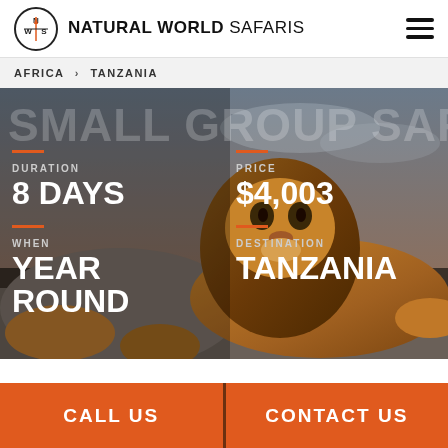NATURAL WORLD SAFARIS
AFRICA > TANZANIA
[Figure (photo): Hero image of a lion resting on rocks with text overlay reading SMALL GROUP SAFARI, showing safari trip details: Duration 8 Days, Price $4,003, When Year Round, Destination Tanzania]
CALL US
CONTACT US